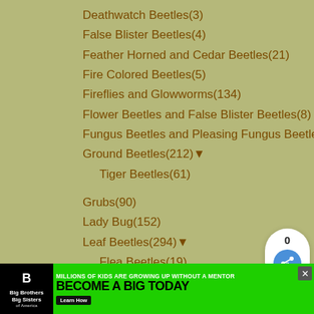Deathwatch Beetles(3)
False Blister Beetles(4)
Feather Horned and Cedar Beetles(21)
Fire Colored Beetles(5)
Fireflies and Glowworms(134)
Flower Beetles and False Blister Beetles(8)
Fungus Beetles and Pleasing Fungus Beetles(39)
Ground Beetles(212) ▼
Tiger Beetles(61)
Grubs(90)
Lady Bug(152)
Leaf Beetles(294) ▼
Flea Beetles(19)
Tortoise Beetles(62)
Longhorn Beetles(1181)
Metallic Borer Beetles(160)
Minute Brown Scavenger Beetles(1)
Net-Winged Beetles(43)
[Figure (screenshot): Share widget showing count 0 and share button]
[Figure (screenshot): What's Next widget showing Tiger Swallowtail...]
[Figure (screenshot): Ad banner: Big Brothers Big Sisters - Millions of kids are growing up without a mentor - Become a Big Today - Learn How]